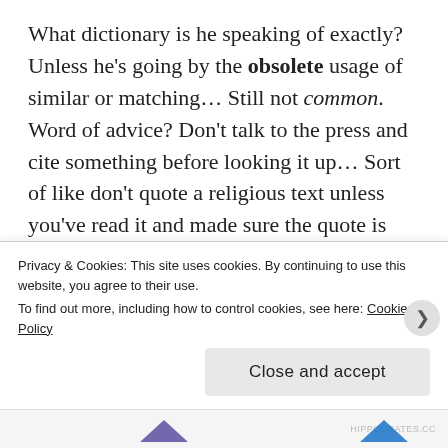What dictionary is he speaking of exactly?  Unless he's going by the obsolete usage of similar or matching…  Still not common.  Word of advice?  Don't talk to the press and cite something before looking it up…  Sort of like don't quote a religious text unless you've read it and made sure the quote is actually in there.)
The urban homesteading community along with gardeners on the internet are up in arms. And you know what? They should be! If a woman wants to grow organic vegetables for her family (especially
Privacy & Cookies: This site uses cookies. By continuing to use this website, you agree to their use.
To find out more, including how to control cookies, see here: Cookie Policy
Close and accept